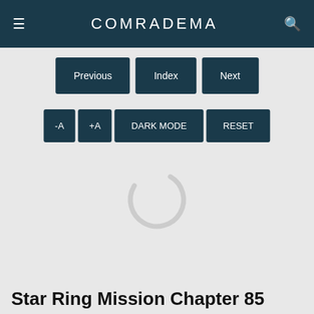≡  COMRADEMA  🔍
Previous | Index | Next
-A  +A  DARK MODE  RESET
[Figure (other): Loading spinner / arc indicator showing content is loading]
Star Ring Mission Chapter 85